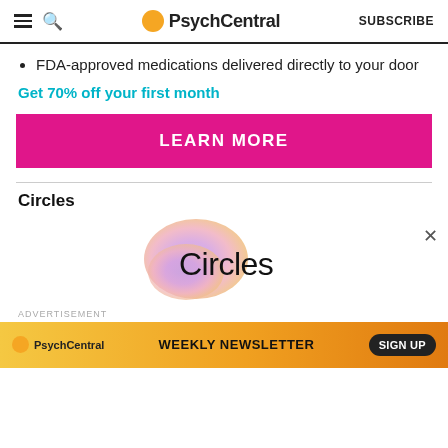PsychCentral SUBSCRIBE
FDA-approved medications delivered directly to your door
Get 70% off your first month
[Figure (other): Pink LEARN MORE button]
Circles
[Figure (logo): Circles app logo with gradient blob shape and 'Circles' text]
ADVERTISEMENT
[Figure (other): PsychCentral Weekly Newsletter signup banner with orange gradient background, PsychCentral logo, WEEKLY NEWSLETTER text, and SIGN UP button]